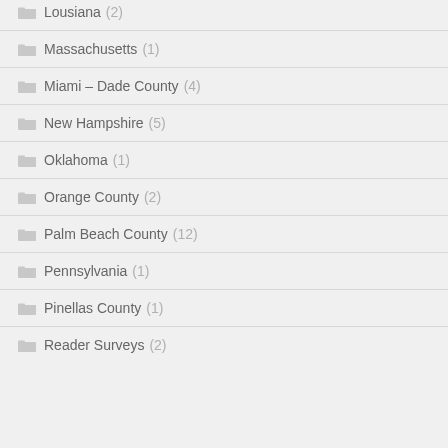Lousiana (2)
Massachusetts (1)
Miami – Dade County (4)
New Hampshire (5)
Oklahoma (1)
Orange County (2)
Palm Beach County (12)
Pennsylvania (1)
Pinellas County (1)
Reader Surveys (2)